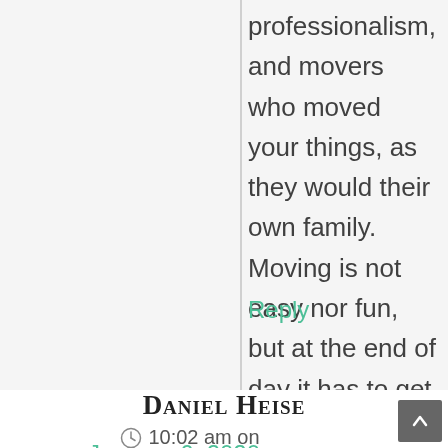professionalism, and movers who moved your things, as they would their own family. Moving is not easy nor fun, but at the end of day it has to get done.
Reply
Daniel Heise
10:02 am on
January 6, 2020